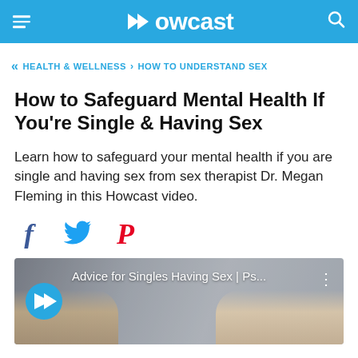Howcast
HEALTH & WELLNESS › HOW TO UNDERSTAND SEX
How to Safeguard Mental Health If You're Single & Having Sex
Learn how to safeguard your mental health if you are single and having sex from sex therapist Dr. Megan Fleming in this Howcast video.
[Figure (screenshot): Social share icons: Facebook (f), Twitter bird, Pinterest (P)]
[Figure (screenshot): Video thumbnail showing 'Advice for Singles Having Sex | Ps...' with Howcast logo play button and two people looking stressed]